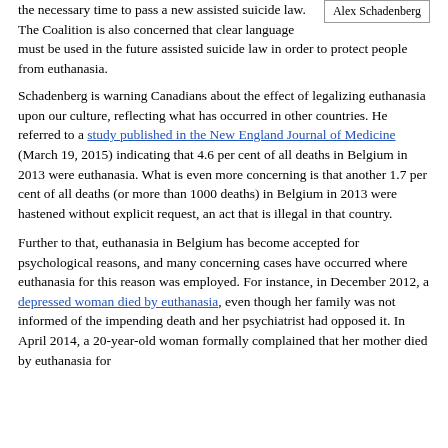the necessary time to pass a new assisted suicide law. The Coalition is also concerned that clear language must be used in the future assisted suicide law in order to protect people from euthanasia.
Schadenberg is warning Canadians about the effect of legalizing euthanasia upon our culture, reflecting what has occurred in other countries. He referred to a study published in the New England Journal of Medicine (March 19, 2015) indicating that 4.6 per cent of all deaths in Belgium in 2013 were euthanasia. What is even more concerning is that another 1.7 per cent of all deaths (or more than 1000 deaths) in Belgium in 2013 were hastened without explicit request, an act that is illegal in that country.
Further to that, euthanasia in Belgium has become accepted for psychological reasons, and many concerning cases have occurred where euthanasia for this reason was employed. For instance, in December 2012, a depressed woman died by euthanasia, even though her family was not informed of the impending death and her psychiatrist had opposed it. In April 2014, a 20-year-old woman formally complained that her mother died by euthanasia for